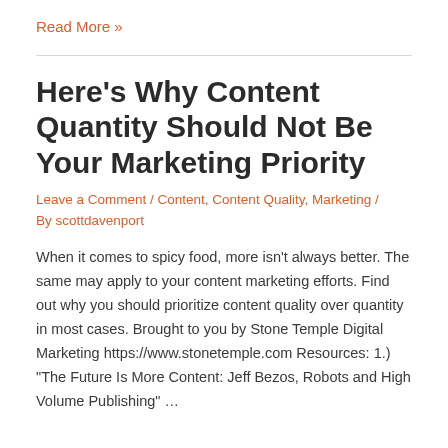Read More »
Here's Why Content Quantity Should Not Be Your Marketing Priority
Leave a Comment / Content, Content Quality, Marketing / By scottdavenport
When it comes to spicy food, more isn't always better. The same may apply to your content marketing efforts. Find out why you should prioritize content quality over quantity in most cases. Brought to you by Stone Temple Digital Marketing https://www.stonetemple.com Resources: 1.) "The Future Is More Content: Jeff Bezos, Robots and High Volume Publishing" …